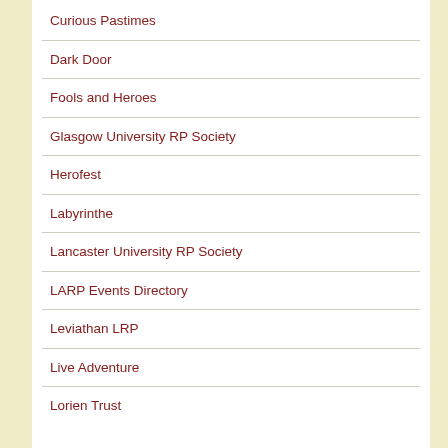Curious Pastimes
Dark Door
Fools and Heroes
Glasgow University RP Society
Herofest
Labyrinthe
Lancaster University RP Society
LARP Events Directory
Leviathan LRP
Live Adventure
Lorien Trust